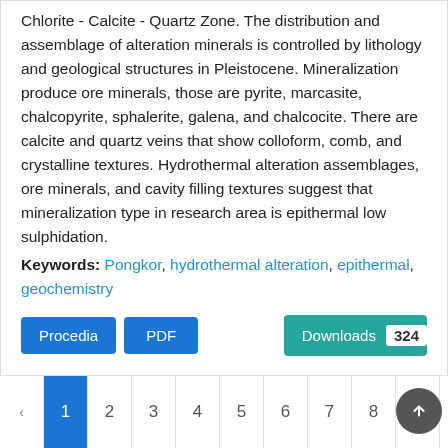Kaolinite - Illite - Chlorite Zone, and Smectite Chlorite - Calcite - Quartz Zone. The distribution and assemblage of alteration minerals is controlled by lithology and geological structures in Pleistocene. Mineralization produce ore minerals, those are pyrite, marcasite, chalcopyrite, sphalerite, galena, and chalcocite. There are calcite and quartz veins that show colloform, comb, and crystalline textures. Hydrothermal alteration assemblages, ore minerals, and cavity filling textures suggest that mineralization type in research area is epithermal low sulphidation.
Keywords: Pongkor, hydrothermal alteration, epithermal, geochemistry
Procedia | PDF | Downloads 324
‹ 1 2 3 4 5 6 7 8 9 10 2